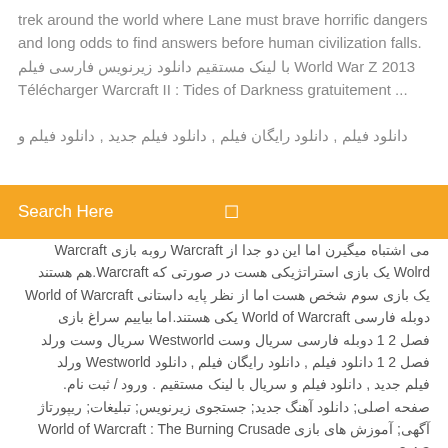trek around the world where Lane must brave horrific dangers and long odds to find answers before human civilization falls. با لینک مستقیم دانلود زیرنویس فارسی فیلم World War Z 2013 Télécharger Warcraft II : Tides of Darkness gratuitement ...
دانلود فیلم , دانلود رایگان فیلم , دانلود فیلم جدید , دانلود فیلم و
Search Here
می اشتباه میگیرن اما این دو جدا از Warcraft روبه بازی Warcraft Wolrd یک بازی استراتژیکی هست در صورتی که Warcraft.هم هستند یک بازی سوم شخص هست اما از نظر پایه داستانی World of Warcraft دوبله فارسی World of Warcraft یکی هستند.اما بیاییم سراغ بازی فصل 2 1 دوبله فارسی سریال وست Westworld سریال وست ورلد فصل 2 1 دانلود فیلم , دانلود رایگان فیلم , دانلود Westworld ورلد فیلم جدید , دانلود فیلم و سریال با لینک مستقیم . ورود / ثبت نام. صفحه اصلی; دانلود آهنگ جدید; جستجوی زیرنویس; تبلیغات; ریپورتاژ آگهی; آموزش های بازی World of Warcraft : The Burning Crusade 2.4.3 ...